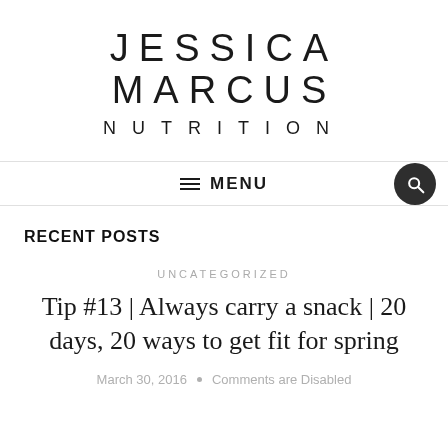JESSICA MARCUS NUTRITION
MENU
RECENT POSTS
UNCATEGORIZED
Tip #13 | Always carry a snack | 20 days, 20 ways to get fit for spring
March 30, 2016 • Comments are Disabled